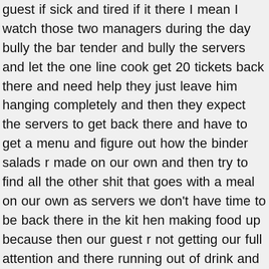guest if sick and tired if it there I mean I watch those two managers during the day bully the bar tender and bully the servers and let the one line cook get 20 tickets back there and need help they just leave him hanging completely and then they expect the servers to get back there and have to get a menu and figure out how the binder salads r made on our own and then try to find all the other shit that goes with a meal on our own as servers we don't have time to be back there in the kit hen making food up because then our guest r not getting our full attention and there running out of drink and then getting upset I'm sorry but the Morganton nc fats is a joke they just let all this stuff go on and then wonder why they r the only restaurant in town that is dead with no guest they bully there staff and pick favorites who get to just do whatever and take other people's hours and everything ...I will say this one for thing the manager at night her name is Rachel is an amazing manager she treats is all equal and she will go out on the floor and talk to guest and fix problems and even when the cooks get slammed busy she will get back there in the line